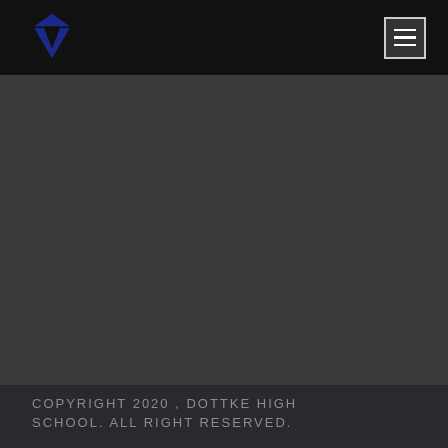Dottke High School logo and navigation menu
[Figure (logo): Dark blue triangular/arrow logo mark for Dottke High School]
COPYRIGHT 2020 , DOTTKE HIGH SCHOOL. ALL RIGHT RESERVED.